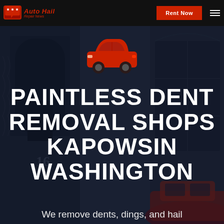Auto Hail Repair Now | Rent Now
[Figure (illustration): Red car icon silhouette centered on hero image background showing street scene with dark blue overlay]
PAINTLESS DENT REMOVAL SHOPS KAPOWSIN WASHINGTON
We remove dents, dings, and hail